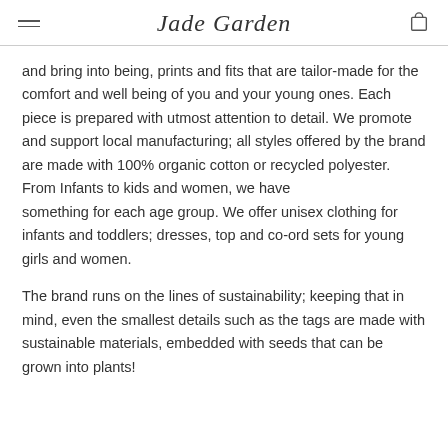Jade Garden
and bring into being, prints and fits that are tailor-made for the comfort and well being of you and your young ones. Each piece is prepared with utmost attention to detail. We promote and support local manufacturing; all styles offered by the brand are made with 100% organic cotton or recycled polyester. From Infants to kids and women, we have something for each age group. We offer unisex clothing for infants and toddlers; dresses, top and co-ord sets for young girls and women.
The brand runs on the lines of sustainability; keeping that in mind, even the smallest details such as the tags are made with sustainable materials, embedded with seeds that can be grown into plants!